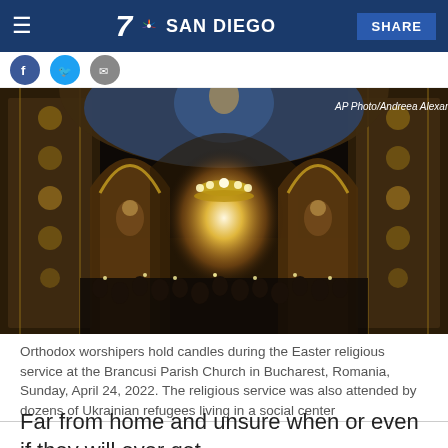7 NBC SAN DIEGO — SHARE
[Figure (photo): Interior of Brancusi Parish Church in Bucharest, Romania, showing ornate frescoes and a chandelier with Orthodox worshipers holding candles during Easter service.]
Orthodox worshipers hold candles during the Easter religious service at the Brancusi Parish Church in Bucharest, Romania, Sunday, April 24, 2022. The religious service was also attended by dozens of Ukrainian refugees living in a social center
Far from home and unsure when or even if they will ever get